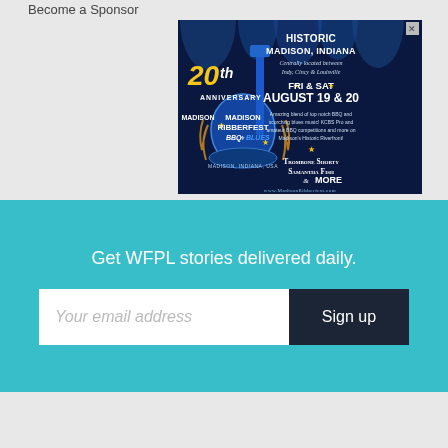Become a Sponsor
[Figure (illustration): Advertisement for Madison Ribberfest BBQ & Blues 20th Anniversary event. Dark navy background with blue stage lights. Left side shows electric guitar graphic with '20th Anniversary' text and 'Madison Ribberfest BBQ & Blues' logo with 'Madison, Indiana, USA'. Right side shows text: 'Historic Madison, Indiana - Centrally located between Indy, Cincy & Louisville', 'FRI & SAT AUGUST 19 & 20', description of event, performers Trombone Shorty, Samantha Fish & More, and website www.MadisonRibberfest.com]
Get WFPL stories delivered daily.
Your email address
Sign up